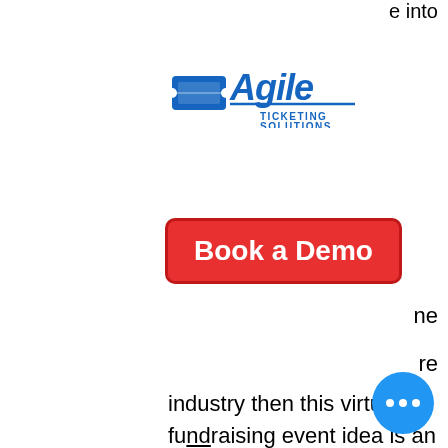e into
[Figure (logo): Agile Ticketing Solutions logo — stylized blue text 'Agile' with a ticket graphic, subtitle 'TICKETING SOLUTIONS']
[Figure (other): Red rounded-rectangle button labeled 'Book a Demo' in white bold text]
ne
re
industry then this virtual fundraising event idea is an absolute no-brainer. You can accompany your virtual event with any of the amenities a normal performance would have, such as snacks, drinks, or intermissions. Consider selling virtual tickets and setting up a donation prompt at checkout. Use messaging such as “We understand that we are in a time where everyone is struggling. If you feel compelled to do so, please think